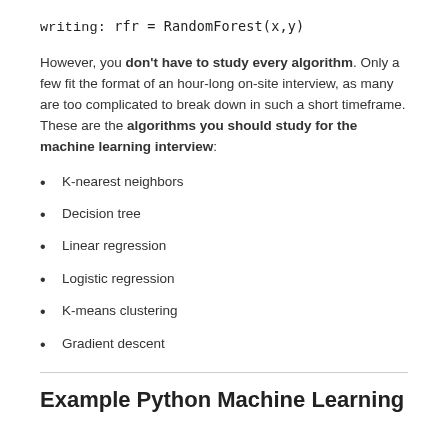writing: rfr = RandomForest(x,y)
However, you don't have to study every algorithm. Only a few fit the format of an hour-long on-site interview, as many are too complicated to break down in such a short timeframe. These are the algorithms you should study for the machine learning interview:
K-nearest neighbors
Decision tree
Linear regression
Logistic regression
K-means clustering
Gradient descent
Example Python Machine Learning